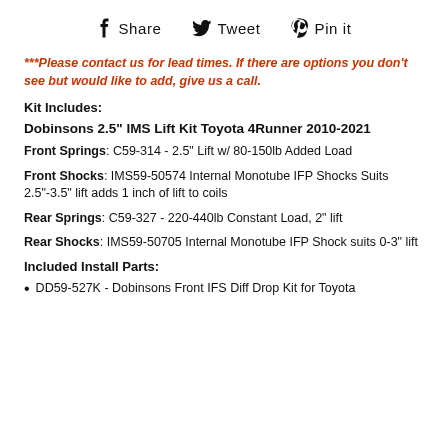Share   Tweet   Pin it
***Please contact us for lead times. If there are options you don't see but would like to add, give us a call.
Kit Includes:
Dobinsons 2.5" IMS Lift Kit Toyota 4Runner 2010-2021
Front Springs: C59-314 - 2.5" Lift w/ 80-150lb Added Load
Front Shocks: IMS59-50574 Internal Monotube IFP Shocks Suits 2.5"-3.5" lift adds 1 inch of lift to coils
Rear Springs: C59-327 - 220-440lb Constant Load, 2" lift
Rear Shocks: IMS59-50705 Internal Monotube IFP Shock suits 0-3" lift
Included Install Parts:
DD59-527K - Dobinsons Front IFS Diff Drop Kit for Toyota